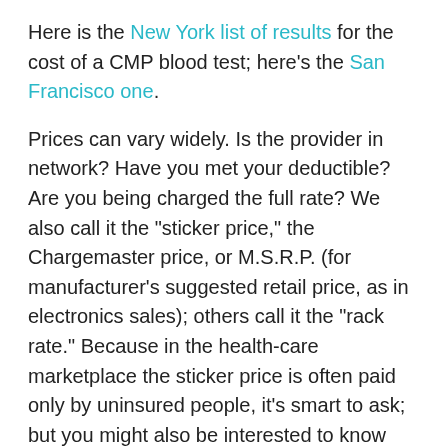Here is the New York list of results for the cost of a CMP blood test; here's the San Francisco one.
Prices can vary widely. Is the provider in network? Have you met your deductible? Are you being charged the full rate? We also call it the "sticker price," the Chargemaster price, or M.S.R.P. (for manufacturer's suggested retail price, as in electronics sales); others call it the "rack rate." Because in the health-care marketplace the sticker price is often paid only by uninsured people, it's smart to ask; but you might also be interested to know that the "negotiated rate," the price the insurance company pays for it can be considerably less. Here's a blog post about a lab bill for which the charge was $401, but the negotiated rate was $24.80.
You may need a doctor-ordered prescription to get blood